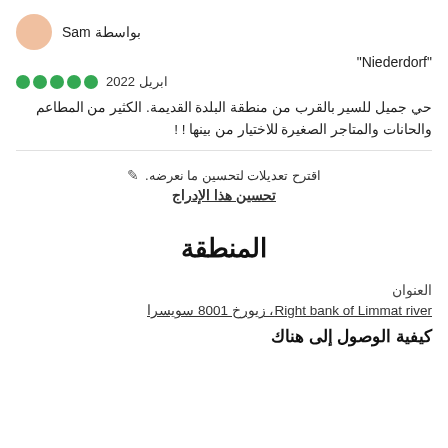بواسطة Sam
"Niederdorf"
ابريل 2022 ●●●●●
حي جميل للسير بالقرب من منطقة البلدة القديمة. الكثير من المطاعم والحانات والمتاجر الصغيرة للاختيار من بينها !‎!
✎ اقترح تعديلات لتحسين ما نعرضه.
تحسين هذا الإدراج
المنطقة
العنوان
Right bank of Limmat river, زيورخ 8001 سويسرا
كيفية الوصول إلى هناك